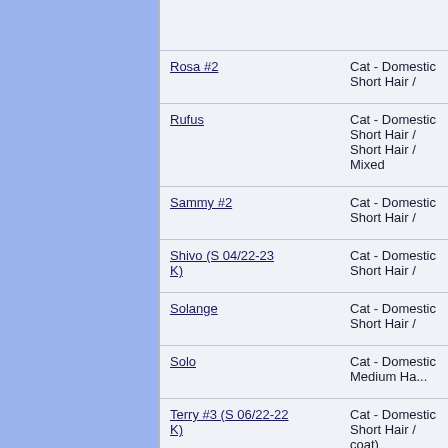| Name | Breed |
| --- | --- |
| Rosa #2 | Cat - Domestic Short Hair / |
| Rufus | Cat - Domestic Short Hair / Short Hair / Mixed |
| Sammy #2 | Cat - Domestic Short Hair / |
| Shivo (S 04/22-23 K) | Cat - Domestic Short Hair / |
| Solange | Cat - Domestic Short Hair / |
| Solo | Cat - Domestic Medium Ha... |
| Terry #3 (S 06/22-22 K) | Cat - Domestic Short Hair / coat) |